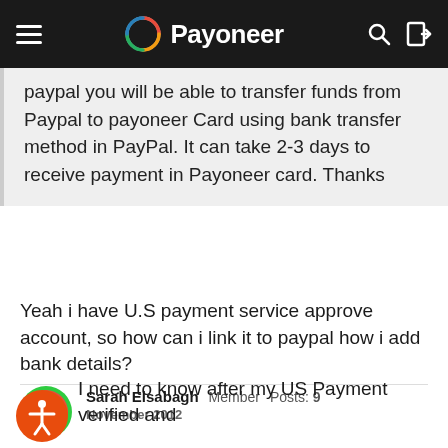Payoneer
paypal you will be able to transfer funds from Paypal to payoneer Card using bank transfer method in PayPal. It can take 2-3 days to receive payment in Payoneer card. Thanks
Yeah i have U.S payment service approve account, so how can i link it to paypal how i add bank details?
Sarah Elsabagh  Member  Posts: 9  November 2012
I need to know after my US Payment verified and...